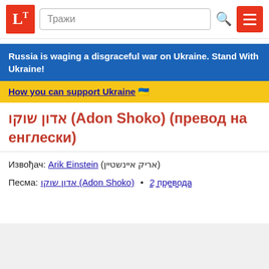Тражи
Russia is waging a disgraceful war on Ukraine. Stand With Ukraine!
How you can support Ukraine 🇺🇦
אדון שוקו (Adon Shoko) (превод на енглески)
Извођач: Arik Einstein (אריק איינשטיין)
Песма: אדון שוקו (Adon Shoko) • 2 превода